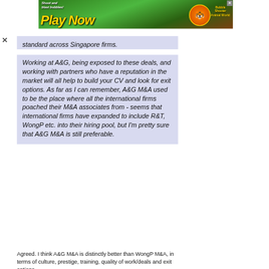[Figure (screenshot): Advertisement banner: green game background with 'Shoot and blast bubbles!' text, 'Play Now' in large yellow letters, cartoon animal character, 'Bubble Shooter Animal World' text, and a close X button in top right corner]
standard across Singapore firms.
Working at A&G, being exposed to these deals, and working with partners who have a reputation in the market will all help to build your CV and look for exit options. As far as I can remember, A&G M&A used to be the place where all the international firms poached their M&A associates from - seems that international firms have expanded to include R&T, WongP etc. into their hiring pool, but I'm pretty sure that A&G M&A is still preferable.
Agreed. I think A&G M&A is distinctly better than WongP M&A, in terms of culture, prestige, training, quality of work/deals and exit options.